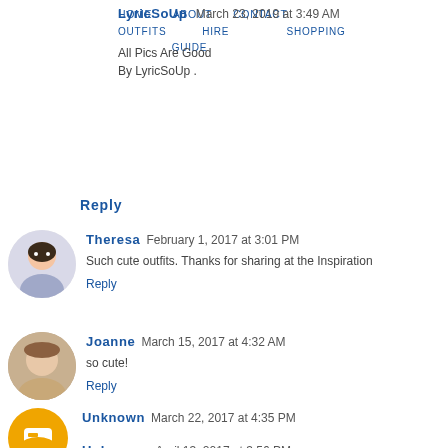HOME  ABOUT  CONTACT  OUTFITS  HIRE  SHOPPING  GUIDE
LyricSoUp  March 23, 2019 at 3:49 AM
All Pics Are Good
By LyricSoUp .
Reply
Theresa  February 1, 2017 at 3:01 PM
Such cute outfits. Thanks for sharing at the Inspiration
Reply
Joanne  March 15, 2017 at 4:32 AM
so cute!
Reply
Unknown  March 22, 2017 at 4:35 PM
Great outfit ideas. I'm always at a loss at how to wea but you ladies have nailed it!
Reply
Unknown  April 13, 2017 at 3:56 PM